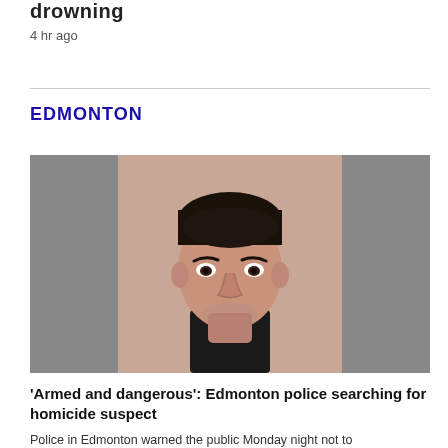drowning
4 hr ago
EDMONTON
[Figure (photo): Mugshot-style photograph of a man with dark hair wearing a black shirt, looking downward, with a blurred background on both sides of the central clear photo.]
'Armed and dangerous': Edmonton police searching for homicide suspect
Police in Edmonton warned the public Monday night not to